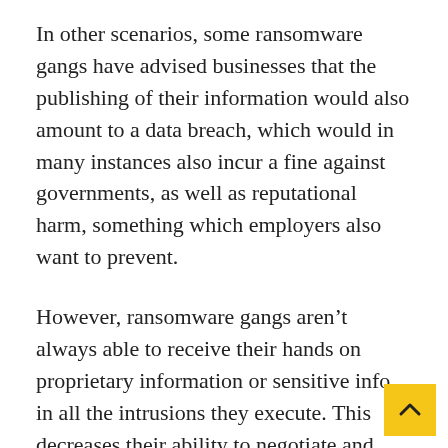In other scenarios, some ransomware gangs have advised businesses that the publishing of their information would also amount to a data breach, which would in many instances also incur a fine against governments, as well as reputational harm, something which employers also want to prevent.
However, ransomware gangs aren't always able to receive their hands on proprietary information or sensitive info in all the intrusions they execute. This decreases their ability to negotiate and pressure sufferers.
That is why, recently intrusions, a team that has often used the Clop ransomware breed has been especially looking for workstations